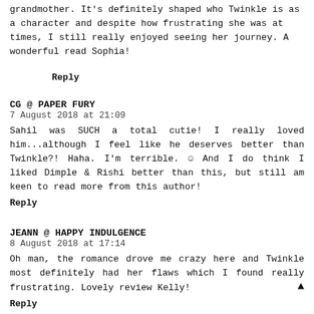grandmother. It's definitely shaped who Twinkle is as a character and despite how frustrating she was at times, I still really enjoyed seeing her journey. A wonderful read Sophia!
Reply
CG @ PAPER FURY
7 August 2018 at 21:09
Sahil was SUCH a total cutie! I really loved him...although I feel like he deserves better than Twinkle?! Haha. I'm terrible. ☺ And I do think I liked Dimple & Rishi better than this, but still am keen to read more from this author!
Reply
JEANN @ HAPPY INDULGENCE
8 August 2018 at 17:14
Oh man, the romance drove me crazy here and Twinkle most definitely had her flaws which I found really frustrating. Lovely review Kelly!
Reply